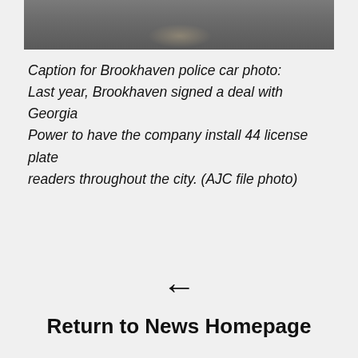[Figure (photo): Bottom portion of a Brookhaven police car photo, showing a dark asphalt/pavement surface]
Caption for Brookhaven police car photo: Last year, Brookhaven signed a deal with Georgia Power to have the company install 44 license plate readers throughout the city. (AJC file photo)
← Return to News Homepage